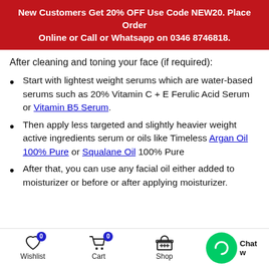New Customers Get 20% OFF Use Code NEW20. Place Order Online or Call or Whatsapp on 0346 8746818.
After cleaning and toning your face (if required):
Start with lightest weight serums which are water-based serums such as 20% Vitamin C + E Ferulic Acid Serum or Vitamin B5 Serum.
Then apply less targeted and slightly heavier weight active ingredients serum or oils like Timeless Argan Oil 100% Pure or Squalane Oil 100% Pure
After that, you can use any facial oil either added to moisturizer or before or after applying moisturizer.
Wishlist  Cart  Shop  Search